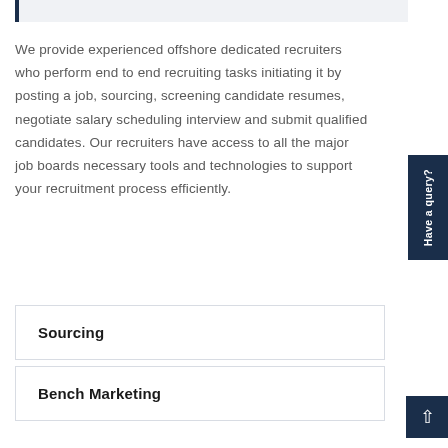We provide experienced offshore dedicated recruiters who perform end to end recruiting tasks initiating it by posting a job, sourcing, screening candidate resumes, negotiate salary scheduling interview and submit qualified candidates. Our recruiters have access to all the major job boards necessary tools and technologies to support your recruitment process efficiently.
Sourcing
Bench Marketing